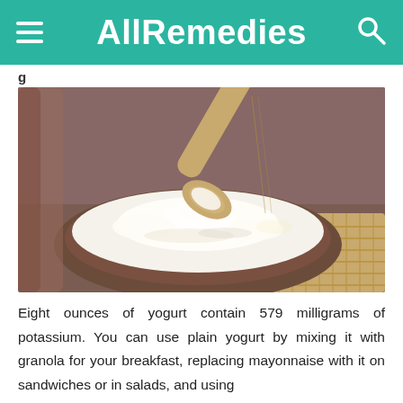AllRemedies
g
[Figure (photo): A wooden bowl filled with thick white yogurt (sour cream or Greek yogurt), with a wooden spoon resting in it. The bowl sits on a woven mat with brown fabric in the background.]
Eight ounces of yogurt contain 579 milligrams of potassium. You can use plain yogurt by mixing it with granola for your breakfast, replacing mayonnaise with it on sandwiches or in salads, and using